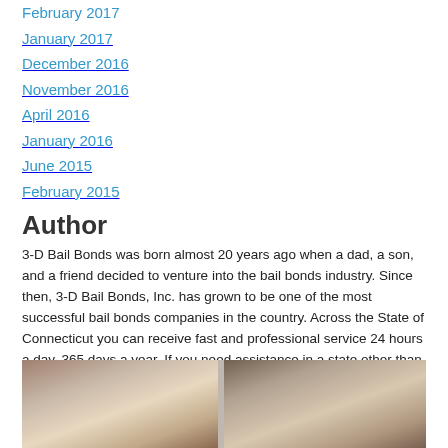February 2017
January 2017
December 2016
November 2016
April 2016
January 2016
June 2015
February 2015
Author
3-D Bail Bonds was born almost 20 years ago when a dad, a son, and a friend decided to venture into the bail bonds industry. Since then, 3-D Bail Bonds, Inc. has grown to be one of the most successful bail bonds companies in the country. Across the State of Connecticut you can receive fast and professional service 24 hours a day, 365 days a year. If you need assistance in a state other than Connecticut, call us and we will get you the local bondsman in the area to meet your needs.
[Figure (photo): Two side-by-side interior photos showing door frames or corridors, partially cut off at the bottom of the page.]